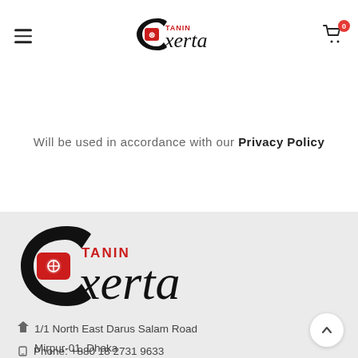[Figure (logo): Tanin Exerta logo in header — stylized C-shape with red Tanin badge and cursive 'xerta' text]
Will be used in accordance with our Privacy Policy
[Figure (logo): Tanin Exerta logo in footer — large version with black stylized C, red TANIN badge, cursive 'xerta']
1/1 North East Darus Salam Road
Mirpur-01, Dhaka
Phone: +880 18 2731 9633